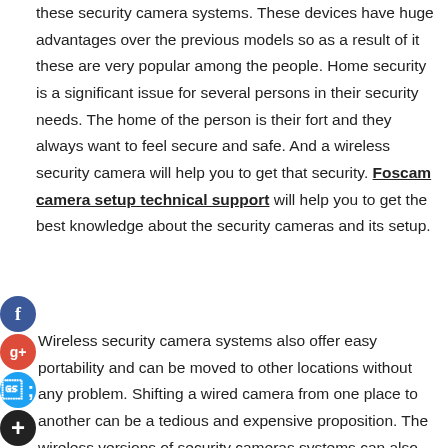these security camera systems. These devices have huge advantages over the previous models so as a result of it these are very popular among the people. Home security is a significant issue for several persons in their security needs. The home of the person is their fort and they always want to feel secure and safe. And a wireless security camera will help you to get that security. Foscam camera setup technical support will help you to get the best knowledge about the security cameras and its setup.
[Figure (other): Social media share buttons: Facebook (blue), Google+ (red), Twitter (blue), Add/Plus (black)]
Wireless security camera systems also offer easy portability and can be moved to other locations without any problem. Shifting a wired camera from one place to another can be a tedious and expensive proposition. The wireless versions of security cameras systems can also be used as a temporary measure to monitor any area where permanent monitoring is not required. Unlike a wired